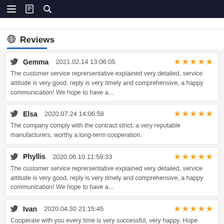Navigation bar with menu, book, and search icons
Reviews
Gemma  2021.02.14 13:06:05  ★★★★★
The customer service reprersentative explained very detailed, service attitude is very good, reply is very timely and comprehensive, a happy communication! We hope to have a...
Elsa  2020.07.24 14:06:58  ★★★★★
The company comply with the contract strict, a very reputable manufacturers, worthy a long-term cooperation.
Phyllis  2020.06.10 11:59:33  ★★★★★
The customer service reprersentative explained very detailed, service attitude is very good, reply is very timely and comprehensive, a happy communication! We hope to have a...
Ivan  2020.04.30 21:15:45  ★★★★★
Cooperate with you every time is very successful, very happy. Hope